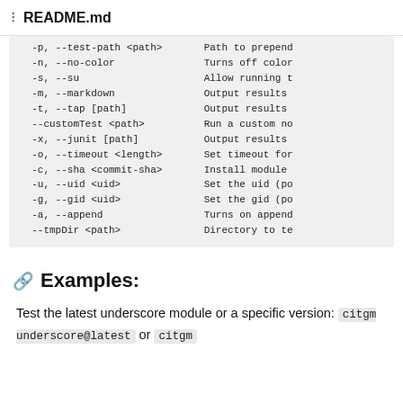README.md
-p, --test-path <path>    Path to prepend
-n, --no-color            Turns off color
-s, --su                  Allow running t
-m, --markdown            Output results
-t, --tap [path]          Output results
--customTest <path>       Run a custom no
-x, --junit [path]        Output results
-o, --timeout <length>    Set timeout for
-c, --sha <commit-sha>    Install module
-u, --uid <uid>           Set the uid (po
-g, --gid <uid>           Set the gid (po
-a, --append              Turns on append
--tmpDir <path>           Directory to te
Examples:
Test the latest underscore module or a specific version: citgm underscore@latest or citgm